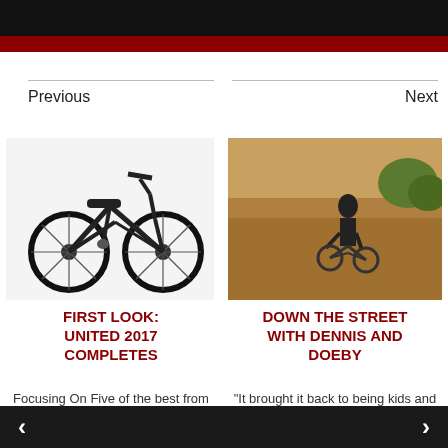[Figure (photo): Dark top banner with red border strip — partial image of people/scene at top of page]
Previous
Next
[Figure (illustration): Black BMX bicycle product photo on white background]
[Figure (photo): BMX rider on a bike at a skate ramp, silhouetted against warm sunset sky]
FIRST LOOK: UNITED 2017 COMPLETES
DOWN THE STREET WITH DENNIS AND DOEBY
Focusing On Five of the best from their all new
"It brought it back to being kids and just